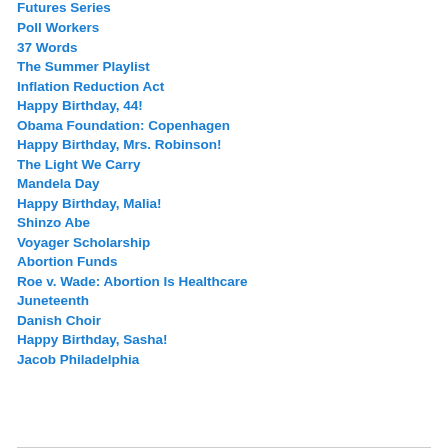Futures Series
Poll Workers
37 Words
The Summer Playlist
Inflation Reduction Act
Happy Birthday, 44!
Obama Foundation: Copenhagen
Happy Birthday, Mrs. Robinson!
The Light We Carry
Mandela Day
Happy Birthday, Malia!
Shinzo Abe
Voyager Scholarship
Abortion Funds
Roe v. Wade: Abortion Is Healthcare
Juneteenth
Danish Choir
Happy Birthday, Sasha!
Jacob Philadelphia